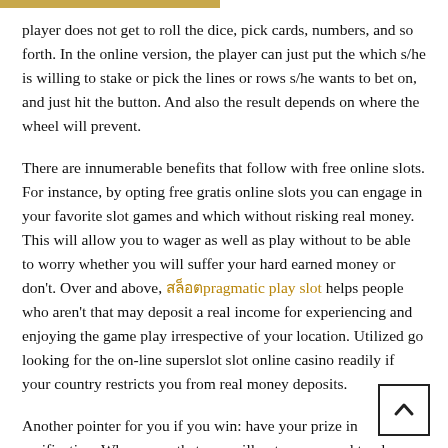player does not get to roll the dice, pick cards, numbers, and so forth. In the online version, the player can just put the which s/he is willing to stake or pick the lines or rows s/he wants to bet on, and just hit the button. And also the result depends on where the wheel will prevent.
There are innumerable benefits that follow with free online slots. For instance, by opting free gratis online slots you can engage in your favorite slot games and which without risking real money. This will allow you to wager as well as play without to be able to worry whether you will suffer your hard earned money or don't. Over and above, สล็อตpragmatic play slot helps people who aren't that may deposit a real income for experiencing and enjoying the game play irrespective of your location. Utilized go looking for the on-line superslot slot online casino readily if your country restricts you from real money deposits.
Another pointer for you if you win: have your prize in verification. Whe... that you will not use upward to play again. Remember, casinos partic...